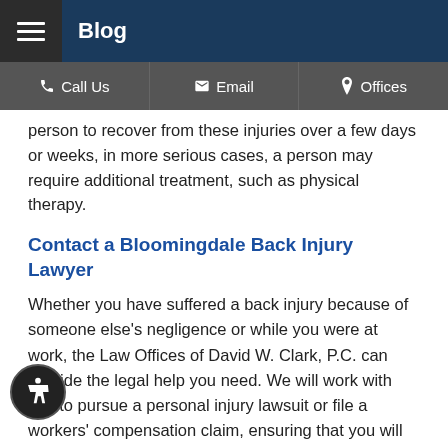Blog
Call Us | Email | Offices
person to recover from these injuries over a few days or weeks, in more serious cases, a person may require additional treatment, such as physical therapy.
Contact a Bloomingdale Back Injury Lawyer
Whether you have suffered a back injury because of someone else's negligence or while you were at work, the Law Offices of David W. Clark, P.C. can provide the legal help you need. We will work with you to pursue a personal injury lawsuit or file a workers' compensation claim, ensuring that you will have the financial resources to make a full recovery. Contact our Bloomingdale, IL spine injury attorney today at 630-665-5678 to set up a free consultation.